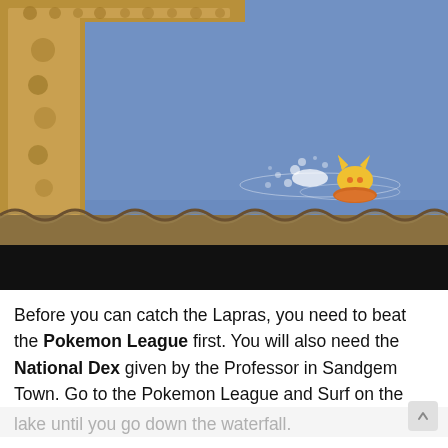[Figure (screenshot): Screenshot from a Pokemon video game showing a character surfing on a blue body of water near a decorative golden/brown frame border in the upper left. A small yellow Pokemon character is visible moving across the water with a splash effect.]
Before you can catch the Lapras, you need to beat the Pokemon League first. You will also need the National Dex given by the Professor in Sandgem Town. Go to the Pokemon League and Surf on the lake until you go down the waterfall.